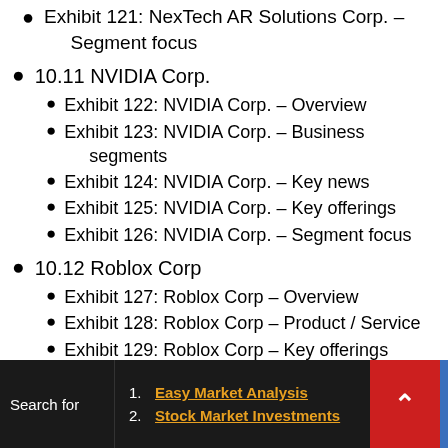Exhibit 121: NexTech AR Solutions Corp. – Segment focus
10.11 NVIDIA Corp.
Exhibit 122: NVIDIA Corp. – Overview
Exhibit 123: NVIDIA Corp. – Business segments
Exhibit 124: NVIDIA Corp. – Key news
Exhibit 125: NVIDIA Corp. – Key offerings
Exhibit 126: NVIDIA Corp. – Segment focus
10.12 Roblox Corp
Exhibit 127: Roblox Corp – Overview
Exhibit 128: Roblox Corp – Product / Service
Exhibit 129: Roblox Corp – Key offerings
Search for  1. Easy Market Analysis  2. Stock Market Investments